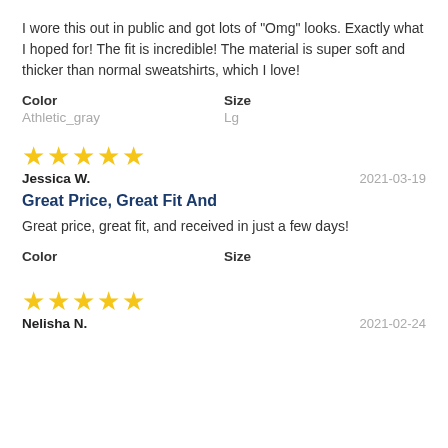I wore this out in public and got lots of "Omg" looks. Exactly what I hoped for! The fit is incredible! The material is super soft and thicker than normal sweatshirts, which I love!
Color: Athletic_gray    Size: Lg
[Figure (other): 5 gold stars rating]
Jessica W.    2021-03-19
Great Price, Great Fit And
Great price, great fit, and received in just a few days!
Color    Size
[Figure (other): 5 gold stars rating (partial, bottom)]
Nelisha N.    2021-02-24